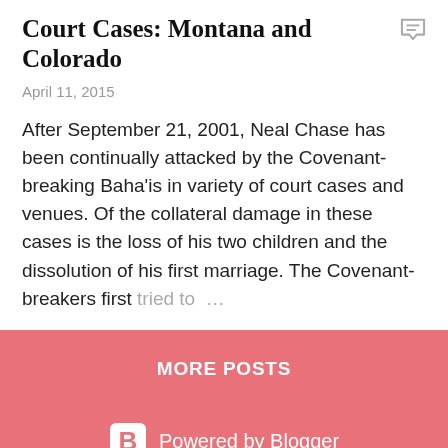Court Cases: Montana and Colorado
April 11, 2015
After September 21, 2001, Neal Chase has been continually attacked by the Covenant-breaking Baha'is in variety of court cases and venues. Of the collateral damage in these cases is the loss of his two children and the dissolution of his first marriage. The Covenant-breakers first tried to …
2 comments
READ MORE
MORE POSTS
[Figure (logo): Powered by Blogger logo with orange B icon]
Theme images by badins